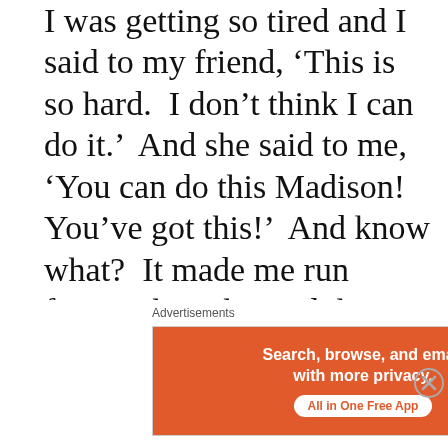I was getting so tired and I said to my friend, ‘This is so hard.  I don’t think I can do it.’  And she said to me, ‘You can do this Madison!  You’ve got this!’  And know what?  It made me run faster when she said that.”
Drop the mic and walk away.  What more do we need to know?!  What
[Figure (other): DuckDuckGo advertisement banner with orange background on the left reading 'Search, browse, and email with more privacy. All in One Free App' and dark background on the right with DuckDuckGo duck logo]